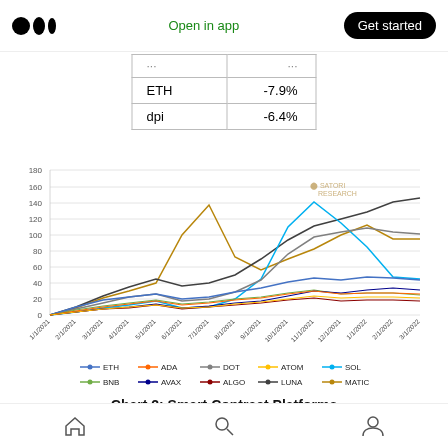Medium logo | Open in app | Get started
|  |  |
| --- | --- |
| ETH | -7.9% |
| dpi | -6.4% |
[Figure (line-chart): ]
Chart 2: Smart Contract Platforms
Home | Search | Profile